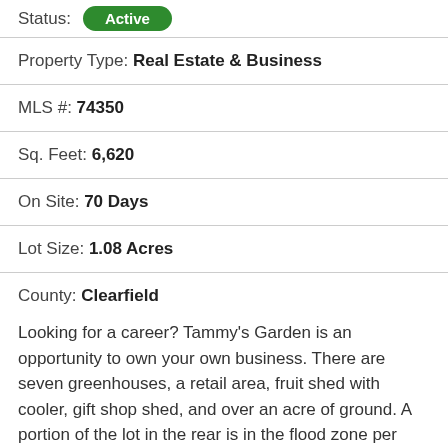Status: Active
Property Type: Real Estate & Business
MLS #: 74350
Sq. Feet: 6,620
On Site: 70 Days
Lot Size: 1.08 Acres
County: Clearfield
Looking for a career? Tammy's Garden is an opportunity to own your own business. There are seven greenhouses, a retail area, fruit shed with cooler, gift shop shed, and over an acre of ground. A portion of the lot in the rear is in the flood zone per FEMA map. The garden center industry is experiencing a huge growth since COVID started per the sellers. Sewer type: holding tank. Call today for more